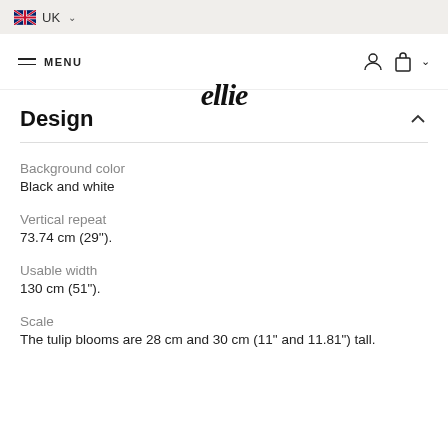UK
ellie | MENU
Design
Background color
Black and white
Vertical repeat
73.74 cm (29'').
Usable width
130 cm (51").
Scale
The tulip blooms are 28 cm and 30 cm (11" and 11.81") tall.